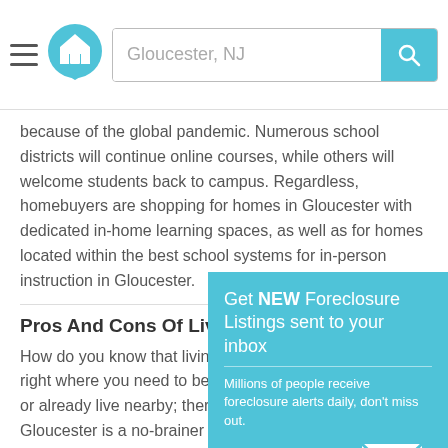[Figure (screenshot): Website header with hamburger menu, home logo, and search bar showing 'Gloucester, NJ']
because of the global pandemic. Numerous school districts will continue online courses, while others will welcome students back to campus. Regardless, homebuyers are shopping for homes in Gloucester with dedicated in-home learning spaces, as well as for homes located within the best school systems for in-person instruction in Gloucester.
Pros And Cons Of Living
How do you know that living right where you need to be or already live nearby; there Gloucester is a no-brainer such a straightforward or s relocating to Gloucester for getting a read on a neighborhood from afar (online) can be tricky... and exhausting.
Here are some questions to ask yourself when shopping for
[Figure (screenshot): Popup overlay with teal background: 'Get NEW Foreclosure Listings sent to your inbox', 'Millions of people receive foreclosure alerts daily, don't miss out.' with Signup Here button and envelope icon, and 'No Thanks | Remind Me Later' link]